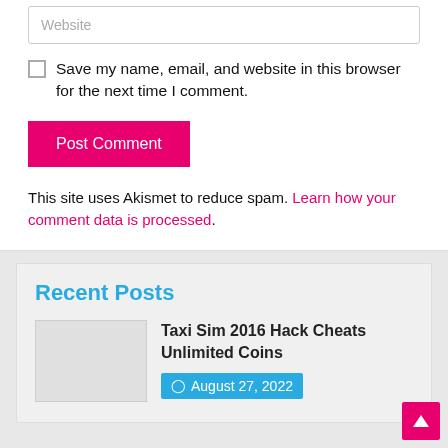Website (placeholder input field)
Save my name, email, and website in this browser for the next time I comment.
Post Comment (button)
This site uses Akismet to reduce spam. Learn how your comment data is processed.
Recent Posts
Taxi Sim 2016 Hack Cheats Unlimited Coins
August 27, 2022